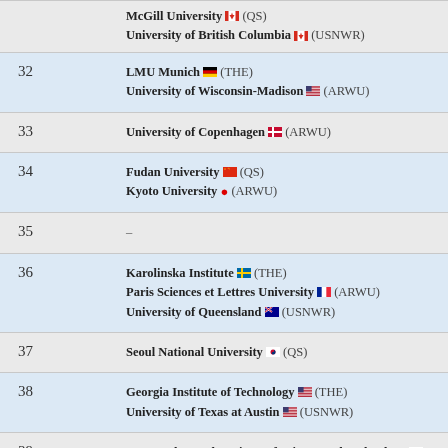| Rank | University |
| --- | --- |
|  | McGill University 🍁 (QS)
University of British Columbia 🍁 (USNWR) |
| 32 | LMU Munich 🇩🇪 (THE)
University of Wisconsin-Madison 🇺🇸 (ARWU) |
| 33 | University of Copenhagen 🇩🇰 (ARWU) |
| 34 | Fudan University 🇨🇳 (QS)
Kyoto University • (ARWU) |
| 35 | – |
| 36 | Karolinska Institute 🇸🇪 (THE)
Paris Sciences et Lettres University 🇫🇷 (ARWU)
University of Queensland 🇦🇺 (USNWR) |
| 37 | Seoul National University 🇰🇷 (QS) |
| 38 | Georgia Institute of Technology 🇺🇸 (THE)
University of Texas at Austin 🇺🇸 (USNWR) |
| 39 | Korea Advanced Institute of Science and Technology ... |